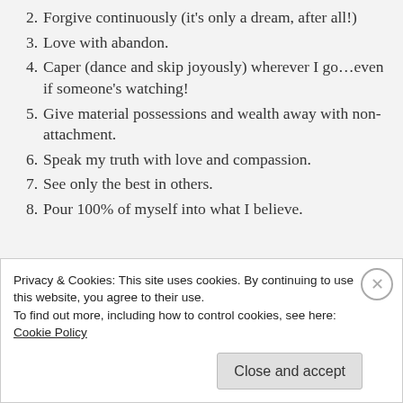2. Forgive continuously (it's only a dream, after all!)
3. Love with abandon.
4. Caper (dance and skip joyously) wherever I go…even if someone's watching!
5. Give material possessions and wealth away with non-attachment.
6. Speak my truth with love and compassion.
7. See only the best in others.
8. Pour 100% of myself into what I believe.
Privacy & Cookies: This site uses cookies. By continuing to use this website, you agree to their use.
To find out more, including how to control cookies, see here: Cookie Policy